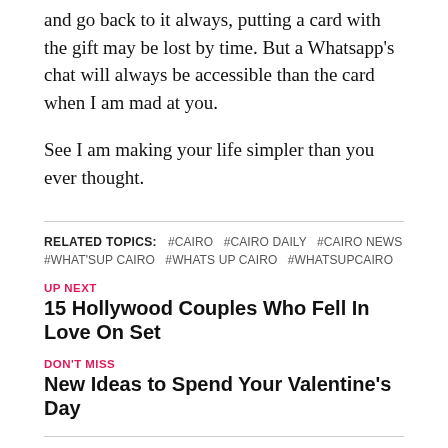and go back to it always, putting a card with the gift may be lost by time. But a Whatsapp's chat will always be accessible than the card when I am mad at you.
See I am making your life simpler than you ever thought.
RELATED TOPICS:   #CAIRO   #CAIRO DAILY   #CAIRO NEWS   #WHAT'SUP CAIRO   #WHATS UP CAIRO   #WHATSUPCAIRO
UP NEXT
15 Hollywood Couples Who Fell In Love On Set
DON'T MISS
New Ideas to Spend Your Valentine's Day
Youmna Moustafa